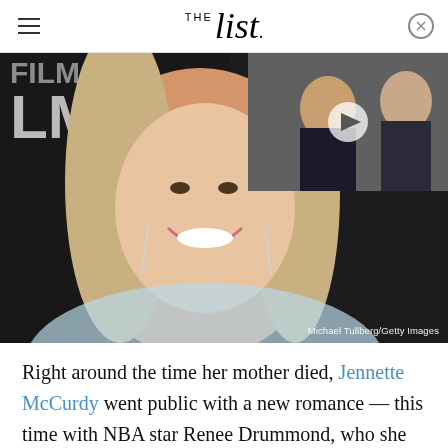THE list
[Figure (photo): Main image: Blonde woman (Jennette McCurdy) smiling at camera at a film event with 'LMS' signage behind her. Inset top-right: video thumbnail showing Meghan Markle and Prince Harry. Photo credit: Michael Tullberg/Getty Images]
Right around the time her mother died, Jennette McCurdy went public with a new romance — this time with NBA star Renee Drummond, who she reportedly met through social media (via J-14). Some parts of their